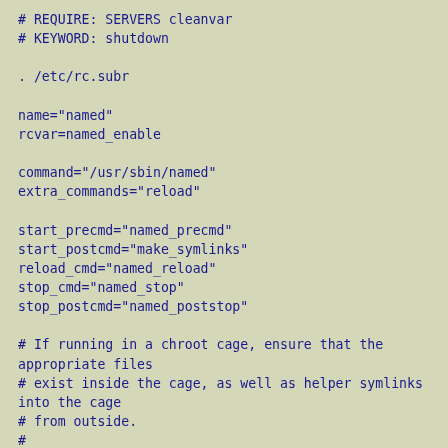# REQUIRE: SERVERS cleanvar
# KEYWORD: shutdown

. /etc/rc.subr

name="named"
rcvar=named_enable

command="/usr/sbin/named"
extra_commands="reload"

start_precmd="named_precmd"
start_postcmd="make_symlinks"
reload_cmd="named_reload"
stop_cmd="named_stop"
stop_postcmd="named_poststop"

# If running in a chroot cage, ensure that the appropriate files
# exist inside the cage, as well as helper symlinks into the cage
# from outside.
#
# As this is called after the is_running and required_dir checks
# are made in run_rc_command(), we can safely assume ${named_chrootdir}
# exists and named isn't running at this point (unless